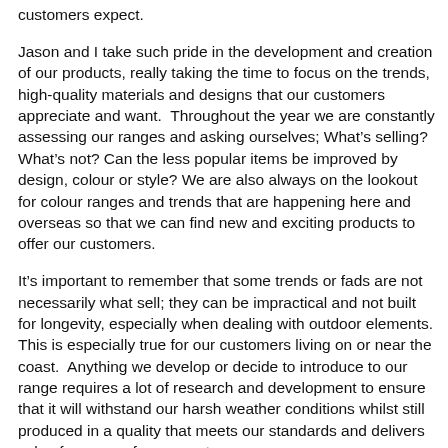customers expect.
Jason and I take such pride in the development and creation of our products, really taking the time to focus on the trends, high-quality materials and designs that our customers appreciate and want.  Throughout the year we are constantly assessing our ranges and asking ourselves; What's selling? What's not? Can the less popular items be improved by design, colour or style? We are also always on the lookout for colour ranges and trends that are happening here and overseas so that we can find new and exciting products to offer our customers.
It's important to remember that some trends or fads are not necessarily what sell; they can be impractical and not built for longevity, especially when dealing with outdoor elements.  This is especially true for our customers living on or near the coast.  Anything we develop or decide to introduce to our range requires a lot of research and development to ensure that it will withstand our harsh weather conditions whilst still produced in a quality that meets our standards and delivers value for money for our customers.
We always put our customers first, focusing on quality